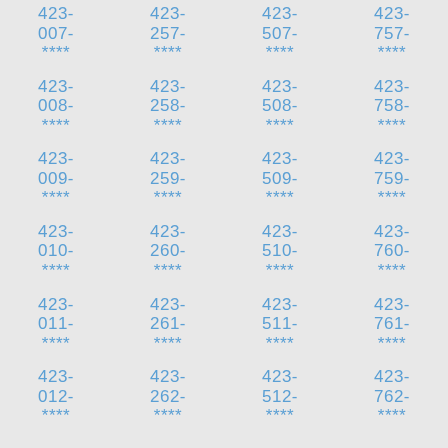423-
007-
****
423-
257-
****
423-
507-
****
423-
757-
****
423-
008-
****
423-
258-
****
423-
508-
****
423-
758-
****
423-
009-
****
423-
259-
****
423-
509-
****
423-
759-
****
423-
010-
****
423-
260-
****
423-
510-
****
423-
760-
****
423-
011-
****
423-
261-
****
423-
511-
****
423-
761-
****
423-
012-
****
423-
262-
****
423-
512-
****
423-
762-
****